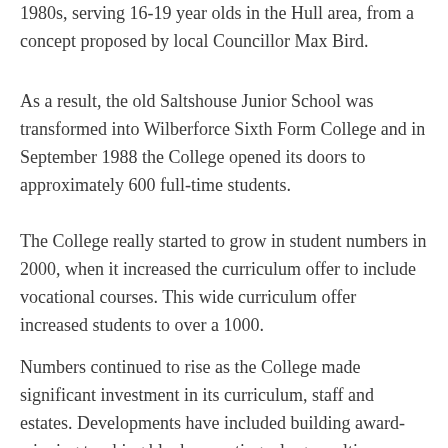1980s, serving 16-19 year olds in the Hull area, from a concept proposed by local Councillor Max Bird.
As a result, the old Saltshouse Junior School was transformed into Wilberforce Sixth Form College and in September 1988 the College opened its doors to approximately 600 full-time students.
The College really started to grow in student numbers in 2000, when it increased the curriculum offer to include vocational courses. This wide curriculum offer increased students to over a 1000.
Numbers continued to rise as the College made significant investment in its curriculum, staff and estates. Developments have included building award-winning teaching blocks, creating a large multi-use Atrium space